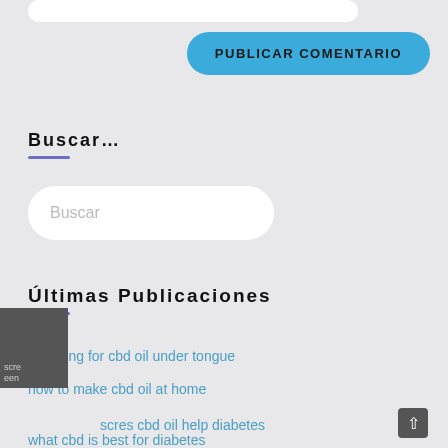[Figure (screenshot): Top portion of a web form input field, white rounded rectangle]
PUBLICAR COMENTARIO
Buscar...
[Figure (screenshot): Search input box with placeholder text 'Buscar']
Últimas Publicaciones
how long for cbd oil under tongue
how to make cbd oil at home
scres cbd oil help diabetes
what cbd is best for diabetes